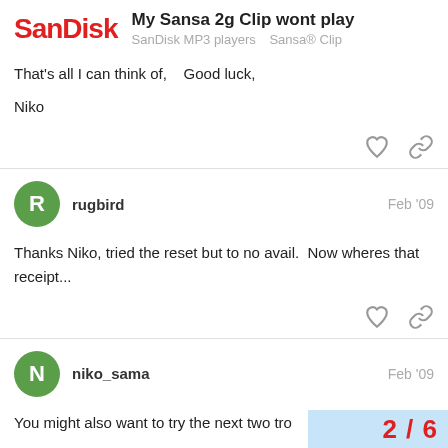SanDisk — My Sansa 2g Clip wont play — SanDisk MP3 players  Sansa® Clip
That's all I can think of,    Good luck,

Niko
rugbird — Feb '09
Thanks Niko, tried the reset but to no avail.  Now wheres that receipt...
niko_sama — Feb '09
You might also want to try the next two tro
2 / 6